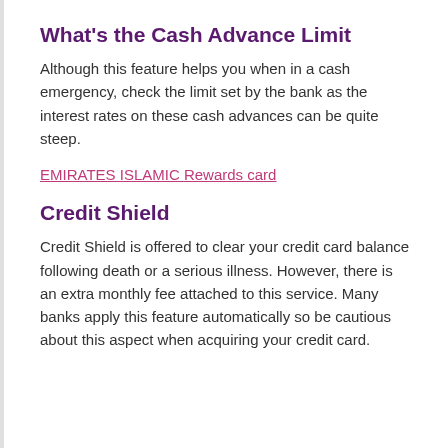What's the Cash Advance Limit
Although this feature helps you when in a cash emergency, check the limit set by the bank as the interest rates on these cash advances can be quite steep.
EMIRATES ISLAMIC Rewards card
Credit Shield
Credit Shield is offered to clear your credit card balance following death or a serious illness. However, there is an extra monthly fee attached to this service. Many banks apply this feature automatically so be cautious about this aspect when acquiring your credit card.